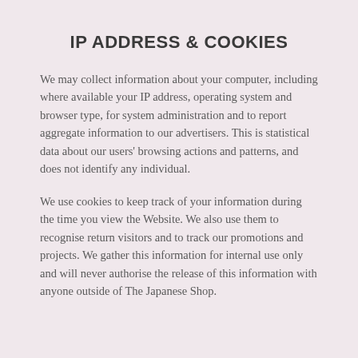IP ADDRESS & COOKIES
We may collect information about your computer, including where available your IP address, operating system and browser type, for system administration and to report aggregate information to our advertisers. This is statistical data about our users' browsing actions and patterns, and does not identify any individual.
We use cookies to keep track of your information during the time you view the Website. We also use them to recognise return visitors and to track our promotions and projects. We gather this information for internal use only and will never authorise the release of this information with anyone outside of The Japanese Shop.